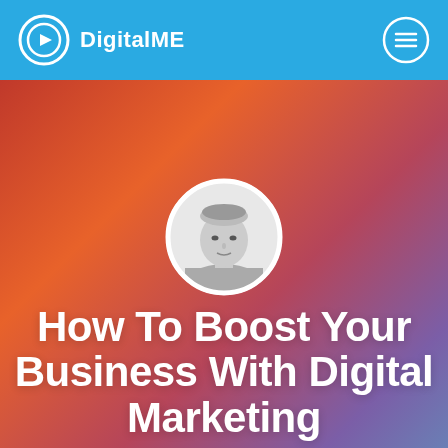DigitalME
[Figure (photo): Circular black and white headshot photo of a young man with short hair]
How To Boost Your Business With Digital Marketing